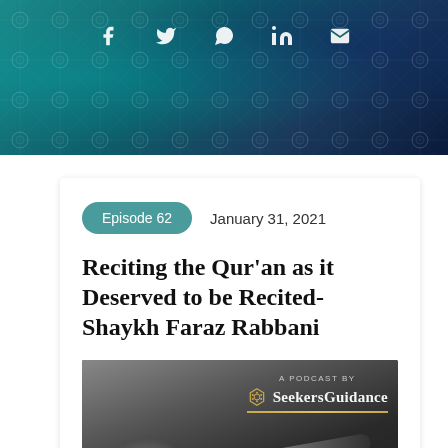[Figure (screenshot): Website header banner with teal/dark blue decorative Islamic pattern background and social media icons (Facebook, Twitter, WhatsApp, LinkedIn, Email) in white at the top]
Episode 62    January 31, 2021
Reciting the Qur'an as it Deserved to be Recited- Shaykh Faraz Rabbani
[Figure (photo): Black and white grayscale podcast cover image showing a decorative ring and pen/calligraphy instrument, with SeekersGuidance podcast logo in the upper right corner reading 'A PODCAST BY SeekersGuidance' with a gold underline]